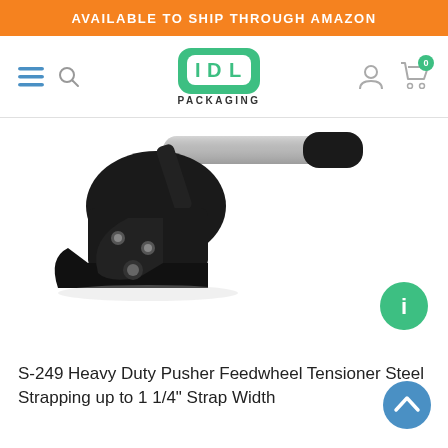AVAILABLE TO SHIP THROUGH AMAZON
[Figure (logo): IDL Packaging logo with green rounded square icon containing stylized letters IDL and the word PACKAGING below in dark text. Navigation icons including hamburger menu, search, user account, and shopping cart with 0 badge also visible.]
[Figure (photo): S-249 Heavy Duty Pusher Feedwheel Tensioner tool for steel strapping — a black metal hand-held strapping tensioner with a silver and black cylindrical handle extending diagonally to the upper right.]
S-249 Heavy Duty Pusher Feedwheel Tensioner Steel Strapping up to 1 1/4" Strap Width